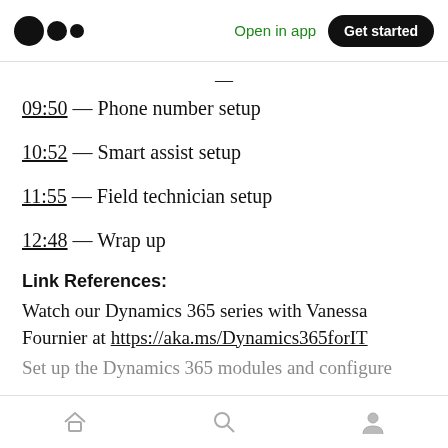Medium logo | Open in app | Get started
09:50 — Phone number setup
10:52 — Smart assist setup
11:55 — Field technician setup
12:48 — Wrap up
Link References:
Watch our Dynamics 365 series with Vanessa Fournier at https://aka.ms/Dynamics365forIT
Set up the Dynamics 365 modules and configure
Home | Search | Profile